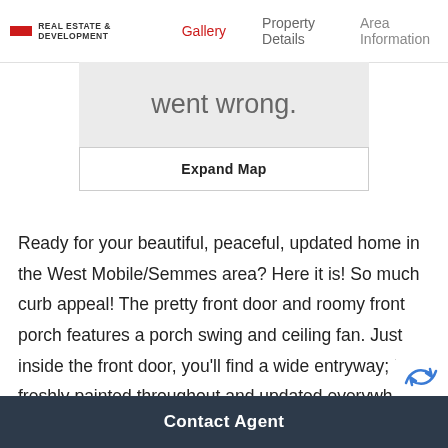REAL ESTATE & DEVELOPMENT — Gallery | Property Details | Area Information
[Figure (screenshot): Map error state showing 'went wrong.' message on grey background with Expand Map button below]
Ready for your beautiful, peaceful, updated home in the West Mobile/Semmes area? Here it is! So much curb appeal! The pretty front door and roomy front porch features a porch swing and ceiling fan. Just inside the front door, you'll find a wide entryway; it is freshly painted throughout and updated everywhere you look. (all improvements per seller)This home features 3 spacious bedrooms, 2 full baths and an in-ground
Contact Agent